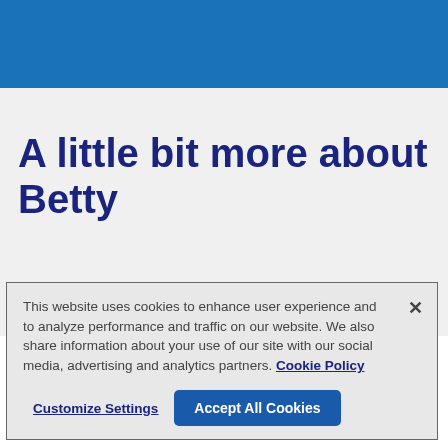[Figure (other): Blue header banner background]
A little bit more about Betty
This website uses cookies to enhance user experience and to analyze performance and traffic on our website. We also share information about your use of our site with our social media, advertising and analytics partners. Cookie Policy
Customize Settings  Accept All Cookies